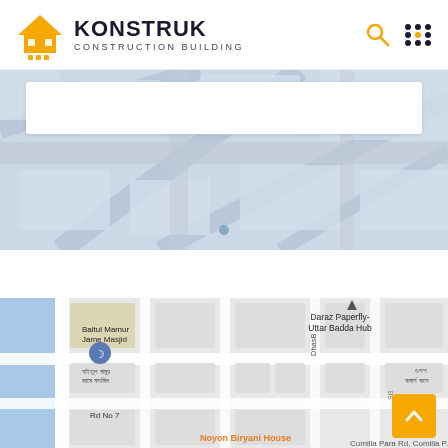KONSTRUK CONSTRUCTION BUILDING
[Figure (map): Top background map showing aerial/blueprint style street layout with light blue tones]
[Figure (map): Google Maps view showing Baitul Mamur Jame Masjid area near Uttar Badda, with labels: Daraz Paperfly-Uttar Badda Hub, Baitul Mamur Jame Masjid, Rd No 7, Noyon Biryani House, Comilla Para Rd, DhasB road label, Bengali text labels]